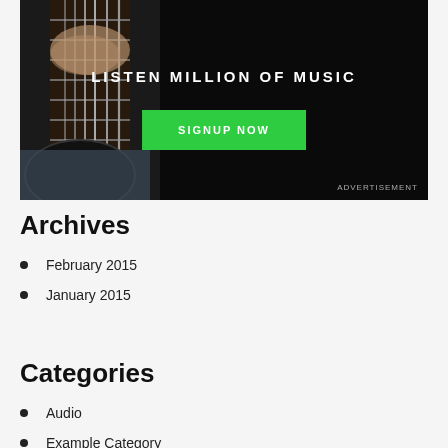[Figure (photo): Advertisement banner with dark background showing a guitar player. Text reads 'LISTEN MILLION OF MUSIC' with a green 'SIGNUP NOW' button and 'ADVERTISEMENT' label at bottom right.]
Archives
February 2015
January 2015
Categories
Audio
Example Category